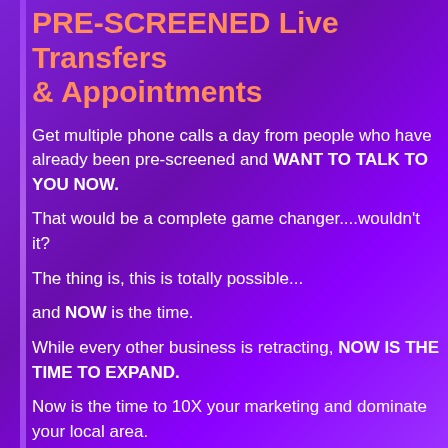PRE-SCREENED Live Transfers & Appointments
Get multiple phone calls a day from people who have already been pre-screened and WANT TO TALK TO YOU NOW.
That would be a complete game changer....wouldn't it?
The thing is, this is totally possible...
and NOW is the time.
While every other business is retracting, NOW IS THE TIME TO EXPAND.
Now is the time to 10X your marketing and dominate your local area.
Are you ready to consistently close more deals?